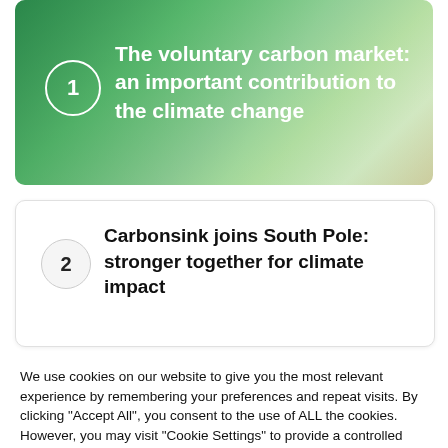[Figure (photo): Green nature/forest card with white circle badge showing '1' and white bold title text about voluntary carbon market]
The voluntary carbon market: an important contribution to the climate change
[Figure (illustration): White card with light gray circle badge showing '2' and bold title text about Carbonsink joining South Pole]
Carbonsink joins South Pole: stronger together for climate impact
We use cookies on our website to give you the most relevant experience by remembering your preferences and repeat visits. By clicking "Accept All", you consent to the use of ALL the cookies. However, you may visit "Cookie Settings" to provide a controlled consent.
Cookie Settings
Accept All